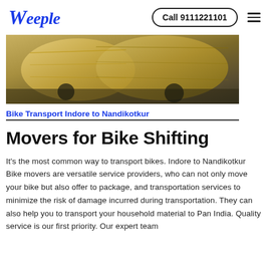Weeple | Call 9111221101
[Figure (photo): Photo of wrapped bikes/motorcycles packed with yellow/brown covering for transport]
Bike Transport Indore to Nandikotkur
Movers for Bike Shifting
It's the most common way to transport bikes. Indore to Nandikotkur Bike movers are versatile service providers, who can not only move your bike but also offer to package, and transportation services to minimize the risk of damage incurred during transportation. They can also help you to transport your household material to Pan India. Quality service is our first priority. Our expert team